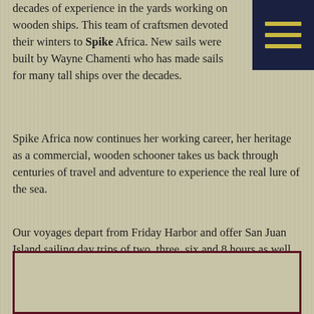decades of experience in the yards working on wooden ships. This team of craftsmen devoted their winters to Spike Africa. New sails were built by Wayne Chamenti who has made sails for many tall ships over the decades.
Spike Africa now continues her working career, her heritage as a commercial, wooden schooner takes us back through centuries of travel and adventure to experience the real lure of the sea.
Our voyages depart from Friday Harbor and offer San Juan Island sailing day trips of two, three, six and 8 hours as well as multiple day adventures, special events and private charters.
[Figure (other): Empty bordered box with dark red border on tan/beige background]